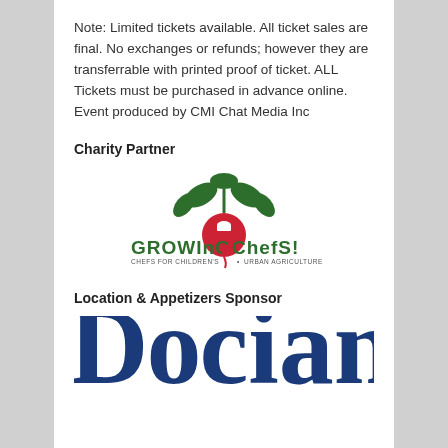Note: Limited tickets available. All ticket sales are final. No exchanges or refunds; however they are transferrable with printed proof of ticket. ALL Tickets must be purchased in advance online. Event produced by CMI Chat Media Inc
Charity Partner
[Figure (logo): Growing Chefs! logo — stylized beet with leafy greens on top, text reads 'GROWInG Chefs!' and subtitle 'CHEFS FOR CHILDREN'S URBAN AGRICULTURE']
Location & Appetizers Sponsor
[Figure (logo): Partial view of a sponsor logo showing large blue serif letters, partially cropped at bottom of page]